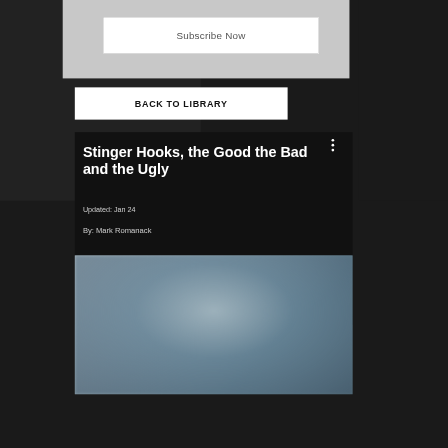[Figure (screenshot): Subscribe Now button on grey card background at top of page]
Subscribe Now
BACK TO LIBRARY
Stinger Hooks, the Good the Bad and the Ugly
Updated: Jan 24
By: Mark Romanack
[Figure (photo): Blurred close-up photo of a fishing stinger hook]